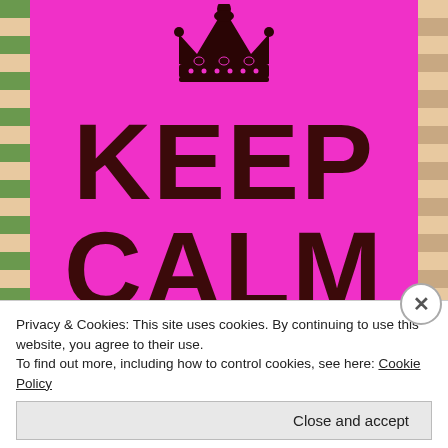[Figure (illustration): Keep Calm and Have Your — pink 'Keep Calm' style poster with dark brown text and a crown at the top. Background is bright magenta/pink. Text reads KEEP CALM AND HAVE YOUR. Decorative tiled borders on left and right sides.]
Privacy & Cookies: This site uses cookies. By continuing to use this website, you agree to their use.
To find out more, including how to control cookies, see here: Cookie Policy
Close and accept